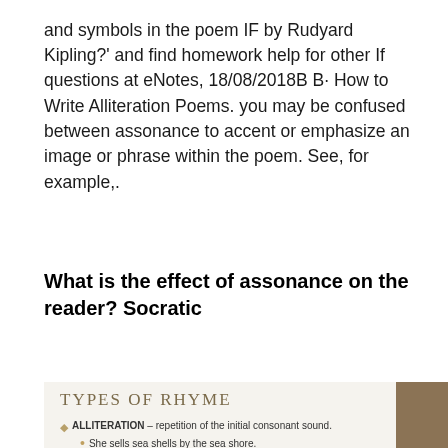and symbols in the poem IF by Rudyard Kipling?' and find homework help for other If questions at eNotes, 18/08/2018B B· How to Write Alliteration Poems. you may be confused between assonance to accent or emphasize an image or phrase within the poem. See, for example,.
What is the effect of assonance on the reader? Socratic
[Figure (illustration): A slide titled 'TYPES OF RHYME' in serif golden/tan text on a light background with a dark brown vertical bar on the right. Shows 'ALLITERATION – repetition of the initial consonant sound.' with a bullet point: 'She sells sea shells by the sea shore.']